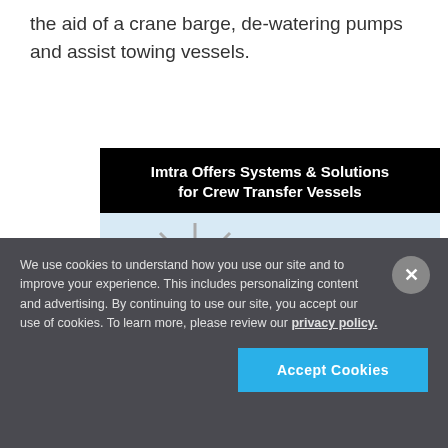the aid of a crane barge, de-watering pumps and assist towing vessels.
[Figure (illustration): Imtra advertisement: 'Imtra Offers Systems & Solutions for Crew Transfer Vessels' with an illustration of offshore wind turbines and a crew transfer vessel, with the Imtra logo.]
We use cookies to understand how you use our site and to improve your experience. This includes personalizing content and advertising. By continuing to use our site, you accept our use of cookies. To learn more, please review our privacy policy.